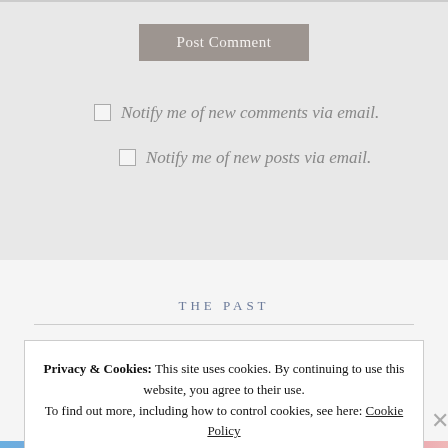[Figure (screenshot): Post Comment button — a grey rectangular button with text 'Post Comment' in light color]
Notify me of new comments via email.
Notify me of new posts via email.
THE PAST
Privacy & Cookies: This site uses cookies. By continuing to use this website, you agree to their use.
To find out more, including how to control cookies, see here: Cookie Policy
Close and accept